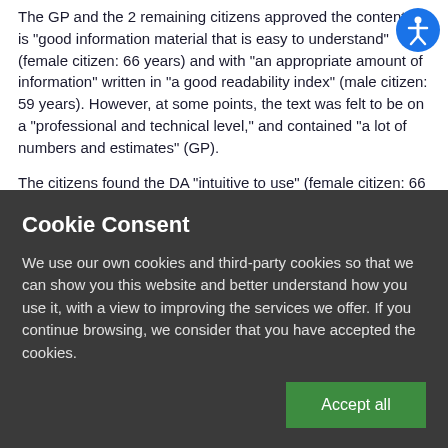The GP and the 2 remaining citizens approved the content. It is "good information material that is easy to understand" (female citizen: 66 years) and with "an appropriate amount of information" written in "a good readability index" (male citizen: 59 years). However, at some points, the text was felt to be on a "professional and technical level," and contained "a lot of numbers and estimates" (GP).
The citizens found the DA "intuitive to use" (female citizen: 66 years). They would "definitely use it" (male citizen: 59 years) and "recommend it to others" (female citizen: 66 years).
Cookie Consent
We use our own cookies and third-party cookies so that we can show you this website and better understand how you use it, with a view to improving the services we offer. If you continue browsing, we consider that you have accepted the cookies.